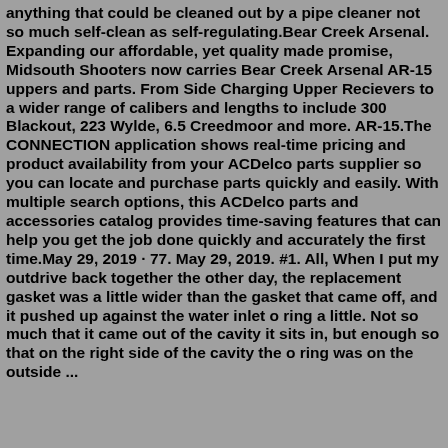anything that could be cleaned out by a pipe cleaner not so much self-clean as self-regulating.Bear Creek Arsenal. Expanding our affordable, yet quality made promise, Midsouth Shooters now carries Bear Creek Arsenal AR-15 uppers and parts. From Side Charging Upper Recievers to a wider range of calibers and lengths to include 300 Blackout, 223 Wylde, 6.5 Creedmoor and more. AR-15.The CONNECTION application shows real-time pricing and product availability from your ACDelco parts supplier so you can locate and purchase parts quickly and easily. With multiple search options, this ACDelco parts and accessories catalog provides time-saving features that can help you get the job done quickly and accurately the first time.May 29, 2019 · 77. May 29, 2019. #1. All, When I put my outdrive back together the other day, the replacement gasket was a little wider than the gasket that came off, and it pushed up against the water inlet o ring a little. Not so much that it came out of the cavity it sits in, but enough so that on the right side of the cavity the o ring was on the outside ...